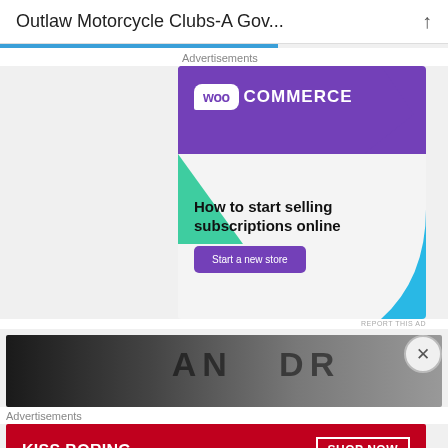Outlaw Motorcycle Clubs-A Gov...
Advertisements
[Figure (screenshot): WooCommerce advertisement: 'How to start selling subscriptions online' with a 'Start a new store' button. Purple background with WooCommerce logo, green and blue decorative shapes.]
REPORT THIS AD
[Figure (photo): Partial photo showing dark fabric with text letters visible]
Advertisements
[Figure (screenshot): Macy's advertisement: 'KISS BORING LIPS GOODBYE' with 'SHOP NOW' button and Macy's star logo on red background]